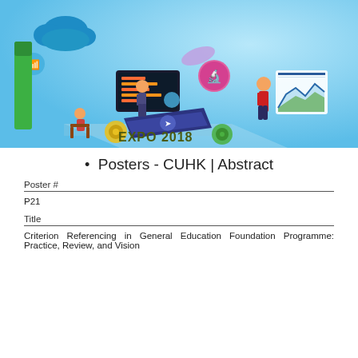[Figure (illustration): EXPO 2018 banner illustration with isometric technology theme: cloud, people, digital screens, data charts on light blue background]
Posters - CUHK | Abstract
Poster #
P21
Title
Criterion Referencing in General Education Foundation Programme: Practice, Review, and Vision